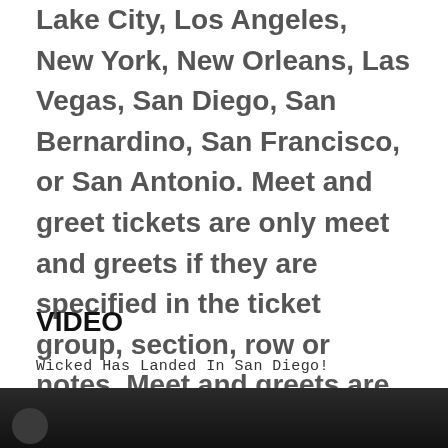Lake City, Los Angeles, New York, New Orleans, Las Vegas, San Diego, San Bernardino, San Francisco, or San Antonio. Meet and greet tickets are only meet and greets if they are specified in the ticket group, section, row or notes. Meet and greets are very rare and only a handful of performers conduct.
VIDEO
Wicked Has Landed In San Diego!
[Figure (photo): Dark video thumbnail image with a circular element in the lower-left corner]